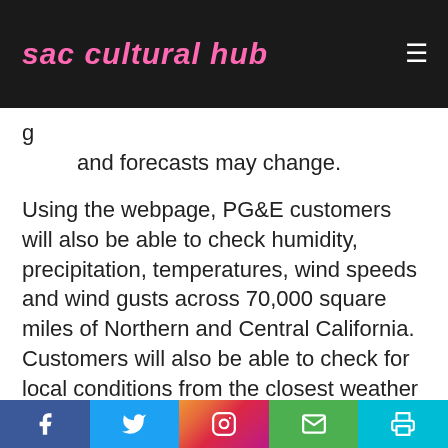sac cultural hub
g and forecasts may change.
Using the webpage, PG&E customers will also be able to check humidity, precipitation, temperatures, wind speeds and wind gusts across 70,000 square miles of Northern and Central California. Customers will also be able to check for local conditions from the closest weather station in their community.
Additionally, the webpage shows whether the National Weather Service has called a Red Flag
Facebook Twitter Instagram Email Print